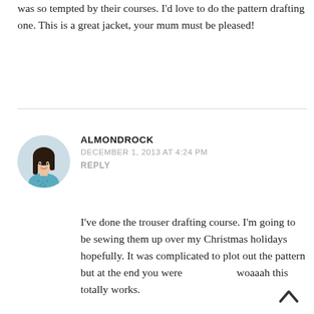was so tempted by their courses. I’d love to do the pattern drafting one. This is a great jacket, your mum must be pleased!
ALMONDROCK
DECEMBER 1, 2013 AT 4:24 PM
REPLY
[Figure (photo): Circular avatar photo of a young woman with dark hair wearing a blue patterned top]
I’ve done the trouser drafting course. I’m going to be sewing them up over my Christmas holidays hopefully. It was complicated to plot out the pattern but at the end you were woaaah this totally works.